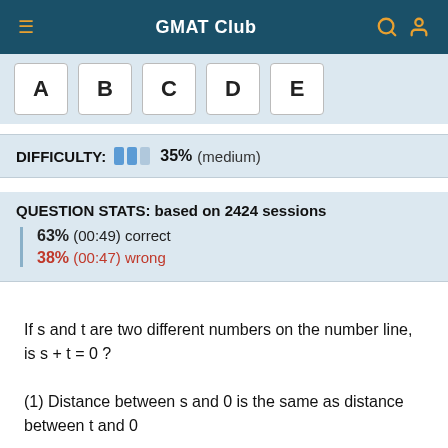GMAT Club
[Figure (other): Answer choice buttons A B C D E]
DIFFICULTY: 35% (medium)
QUESTION STATS: based on 2424 sessions
63% (00:49) correct
38% (00:47) wrong
If s and t are two different numbers on the number line, is s + t = 0 ?
(1) Distance between s and 0 is the same as distance between t and 0